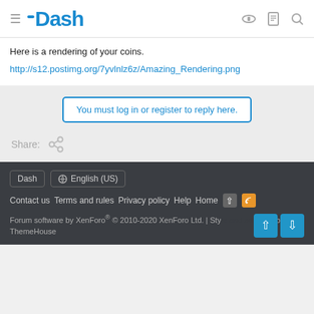Dash — hamburger menu, logo, icons (key, clipboard, search)
Here is a rendering of your coins.
http://s12.postimg.org/7yvlnlz6z/Amazing_Rendering.png
You must log in or register to reply here.
Share:
Dash | English (US)
Contact us  Terms and rules  Privacy policy  Help  Home
Forum software by XenForo® © 2010-2020 XenForo Ltd. | Style and add-ons by ThemeHouse